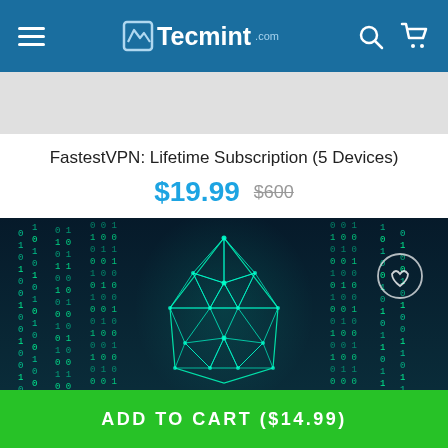Tecmint
[Figure (illustration): Gray placeholder banner area]
FastestVPN: Lifetime Subscription (5 Devices)
$19.99  $600
[Figure (illustration): VPN cybersecurity illustration: dark background with green binary code rain and a glowing low-poly hooded figure made of connected dots/lines in the center, with a heart/love icon circle on the right side]
ADD TO CART ($14.99)